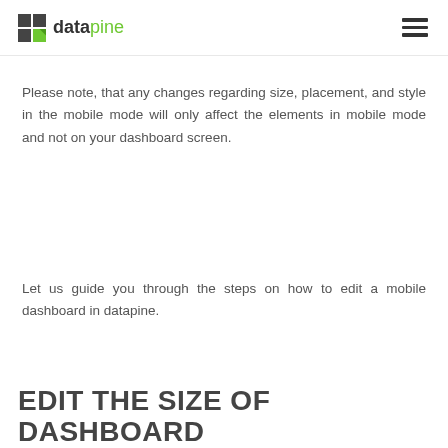datapine
Please note, that any changes regarding size, placement, and style in the mobile mode will only affect the elements in mobile mode and not on your dashboard screen.
Let us guide you through the steps on how to edit a mobile dashboard in datapine.
EDIT THE SIZE OF DASHBOARD